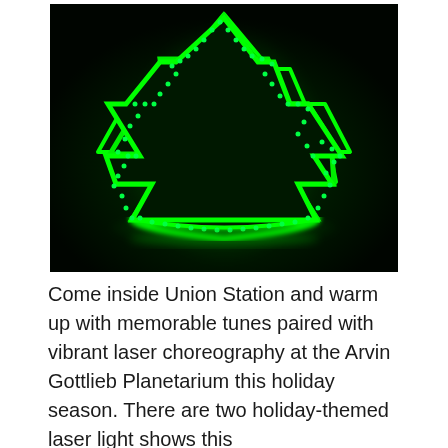[Figure (illustration): A glowing neon green Christmas tree outline on a dark background, with LED-style dots along the edges, creating a laser/neon light effect. The tree has a stepped/layered triangular silhouette and a glowing green base/stand.]
Come inside Union Station and warm up with memorable tunes paired with vibrant laser choreography at the Arvin Gottlieb Planetarium this holiday season. There are two holiday-themed laser light shows this